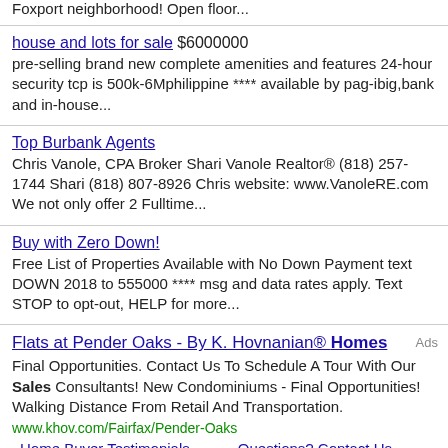Foxport neighborhood! Open floor...
house and lots for sale $6000000 pre-selling brand new complete amenities and features 24-hour security tcp is 500k-6Mphilippine **** available by pag-ibig,bank and in-house...
Top Burbank Agents Chris Vanole, CPA Broker Shari Vanole Realtor® (818) 257-1744 Shari (818) 807-8926 Chris website: www.VanoleRE.com We not only offer 2 Fulltime...
Buy with Zero Down! Free List of Properties Available with No Down Payment text DOWN 2018 to 555000 **** msg and data rates apply. Text STOP to opt-out, HELP for more...
Flats at Pender Oaks - By K. Hovnanian® Homes Final Opportunities. Contact Us To Schedule A Tour With Our Sales Consultants! New Condominiums - Final Opportunities! Walking Distance From Retail And Transportation. www.khov.com/Fairfax/Pender-Oaks Home Buyer Testimonials Questions? Contact Us The K Hovnanian Advantage
Tons of Homes to Choose From - Affordable.